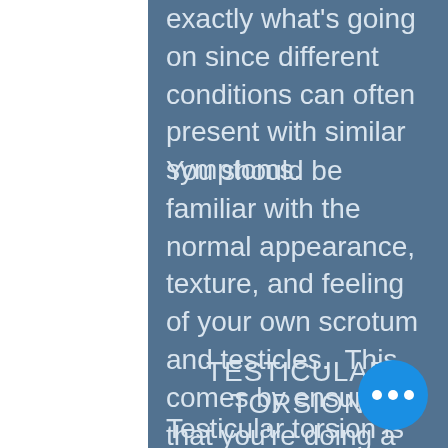exactly what's going on since different conditions can often present with similar symptoms.
You should be familiar with the normal appearance, texture, and feeling of your own scrotum and testicles.  This comes by ensuring that you're doing a monthly testicular self-exam as described by clicking HERE.  Knowing what is normal for you will make it easier to recognize when something is out of the ordinary and to seek medical attention.
TESTICULAR TORSION
Testicular torsion is an EMERGENCY!!!!!  If it is not treated within 12 hours, it can lead to death of the testicle and